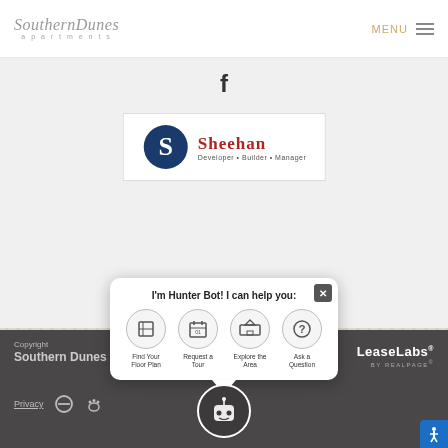Southern Dunes apartments | MENU
[Figure (logo): Facebook icon (f) in dark color on light gray background]
[Figure (logo): Sheehan logo - Developer • Builder • Manager, with stylized S in blue and red]
[Figure (screenshot): Hunter Bot chatbot popup with options: Find Your Floor Plan, Request a Tour, Explore the Area, Ask a Question]
Copyright Southern Dunes | LeaseLabs by RealPage | Privacy
[Figure (illustration): Hunter Bot robot character circle icon at bottom center]
[Figure (illustration): Accessibility button (wheelchair icon) at bottom right]